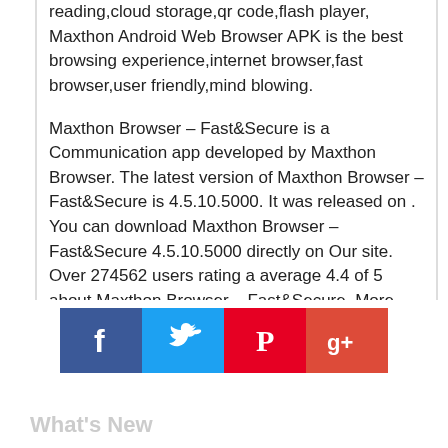reading,cloud storage,qr code,flash player, Maxthon Android Web Browser APK is the best browsing experience,internet browser,fast browser,user friendly,mind blowing.
Maxthon Browser – Fast&Secure is a Communication app developed by Maxthon Browser. The latest version of Maxthon Browser – Fast&Secure is 4.5.10.5000. It was released on . You can download Maxthon Browser – Fast&Secure 4.5.10.5000 directly on Our site. Over 274562 users rating a average 4.4 of 5 about Maxthon Browser – Fast&Secure. More than 50000000 is playing Maxthon Browser – Fast&Secure right now. Coming to join them and download Maxthon Browser – Fast&Secure directly!
[Figure (infographic): Social share buttons: Facebook (blue), Twitter (light blue), Pinterest (red), Google+ (red-orange)]
What's New